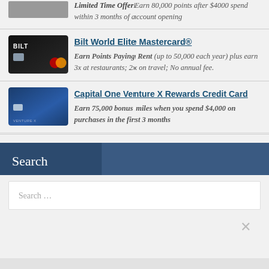Limited Time Offer Earn 80,000 points after $4000 spend within 3 months of account opening
Bilt World Elite Mastercard®
Earn Points Paying Rent (up to 50,000 each year) plus earn 3x at restaurants; 2x on travel; No annual fee.
Capital One Venture X Rewards Credit Card
Earn 75,000 bonus miles when you spend $4,000 on purchases in the first 3 months
Search
Search ...